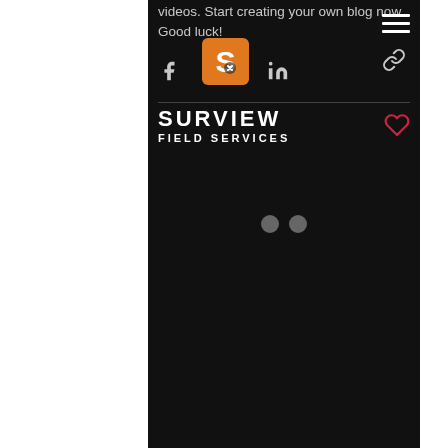videos. Start creating your own blog now. Good luck!
[Figure (logo): Surview Field Services logo - orange stylized S shield on dark background]
SURVIEW
FIELD SERVICES